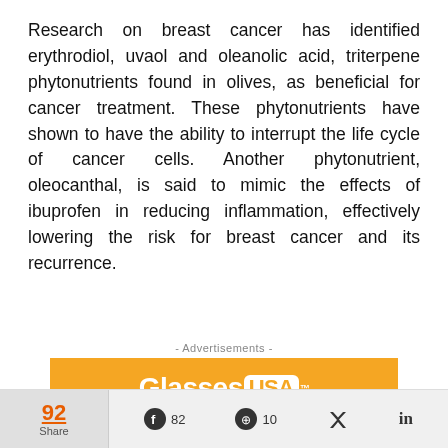Research on breast cancer has identified erythrodiol, uvaol and oleanolic acid, triterpene phytonutrients found in olives, as beneficial for cancer treatment. These phytonutrients have shown to have the ability to interrupt the life cycle of cancer cells. Another phytonutrient, oleocanthal, is said to mimic the effects of ibuprofen in reducing inflammation, effectively lowering the risk for breast cancer and its recurrence.
- Advertisements -
[Figure (photo): GlassesUSA.com advertisement with orange background showing eyeglasses]
92 Share  Facebook 82  Pinterest 10  Twitter  LinkedIn